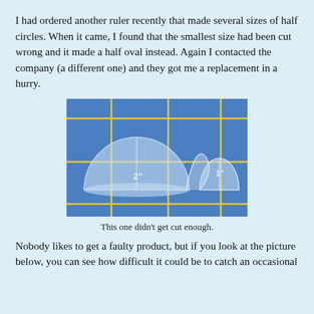I had ordered another ruler recently that made several sizes of half circles. When it came, I found that the smallest size had been cut wrong and it made a half oval instead. Again I contacted the company (a different one) and they got me a replacement in a hurry.
[Figure (photo): A transparent acrylic ruler with half-circle cutouts of different sizes (labeled 2" and 1"), placed on a blue grid mat with yellow grid lines. The smallest half-circle shape appears to have been cut as an oval rather than a true semicircle.]
This one didn't get cut enough.
Nobody likes to get a faulty product, but if you look at the picture below, you can see how difficult it could be to catch an occasional